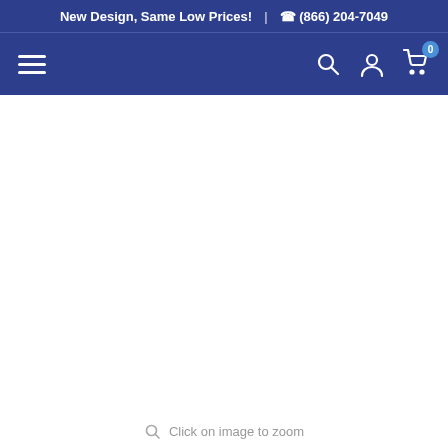New Design, Same Low Prices!  |  ☎ (866) 204-7049
[Figure (screenshot): E-commerce website navigation bar with hamburger menu icon on the left and search, account, and cart icons on the right. Cart shows badge with 0 items.]
Click on image to zoom